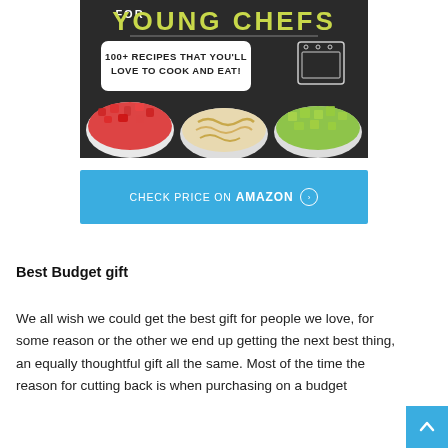[Figure (illustration): Book cover for a cookbook titled 'FOR YOUNG CHEFS' with subtitle '100+ RECIPES THAT YOU'LL LOVE TO COOK AND EAT!' on a dark chalkboard background with bowls of chopped strawberries, noodles, and avocado.]
[Figure (other): Blue button/banner reading 'CHECK PRICE ON AMAZON' with a right-arrow circle icon.]
Best Budget gift
We all wish we could get the best gift for people we love, for some reason or the other we end up getting the next best thing, an equally thoughtful gift all the same. Most of the time the reason for cutting back is when purchasing on a budget